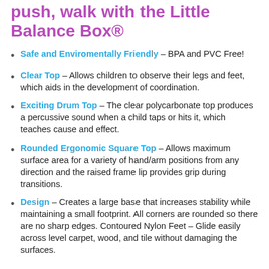push, walk with the Little Balance Box®
Safe and Enviromentally Friendly – BPA and PVC Free!
Clear Top – Allows children to observe their legs and feet, which aids in the development of coordination.
Exciting Drum Top – The clear polycarbonate top produces a percussive sound when a child taps or hits it, which teaches cause and effect.
Rounded Ergonomic Square Top – Allows maximum surface area for a variety of hand/arm positions from any direction and the raised frame lip provides grip during transitions.
Design – Creates a large base that increases stability while maintaining a small footprint. All corners are rounded so there are no sharp edges. Contoured Nylon Feet – Glide easily across level carpet, wood, and tile without damaging the surfaces.